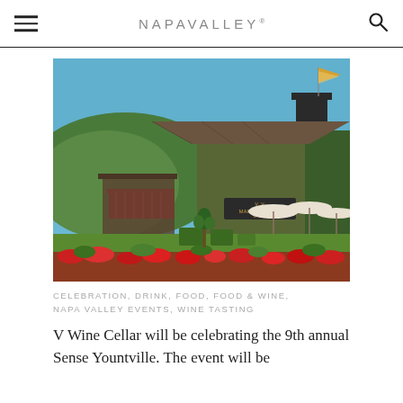NAPAVALLEY®
[Figure (photo): Exterior photo of V Marketplace (V Wine Cellar) in Yountville, Napa Valley on a bright sunny day. The building is covered in ivy, with a flagpole flying a yellow pennant, a red awning, white patio umbrellas, manicured gardens with red flowers, and green hills in the background.]
CELEBRATION, DRINK, FOOD, FOOD & WINE, NAPA VALLEY EVENTS, WINE TASTING
V Wine Cellar will be celebrating the 9th annual Sense Yountville. The event will be